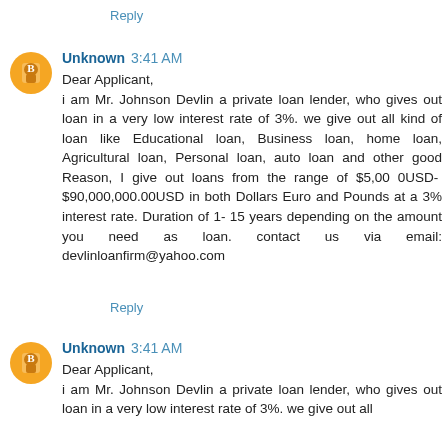Reply
Unknown 3:41 AM
Dear Applicant,
i am Mr. Johnson Devlin a private loan lender, who gives out loan in a very low interest rate of 3%. we give out all kind of loan like Educational loan, Business loan, home loan, Agricultural loan, Personal loan, auto loan and other good Reason, I give out loans from the range of $5,000USD- $90,000,000.00USD in both Dollars Euro and Pounds at a 3% interest rate. Duration of 1- 15 years depending on the amount you need as loan. contact us via email: devlinloanfirm@yahoo.com
Reply
Unknown 3:41 AM
Dear Applicant,
i am Mr. Johnson Devlin a private loan lender, who gives out loan in a very low interest rate of 3%. we give out all